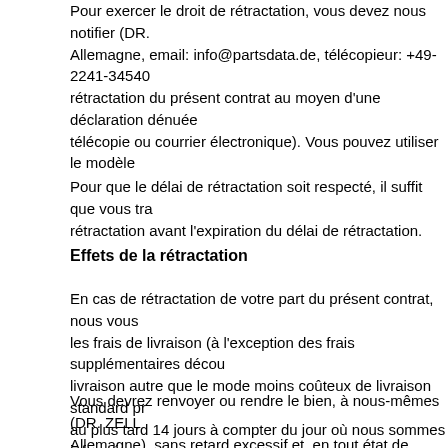Pour exercer le droit de rétractation, vous devez nous notifier (DR. Zell... Allemagne, email: info@partsdata.de, télécopieur: +49-2241-3454... rétractation du présent contrat au moyen d'une déclaration dénuée... télécopie ou courrier électronique). Vous pouvez utiliser le modèle...
Pour que le délai de rétractation soit respecté, il suffit que vous tra... rétractation avant l'expiration du délai de rétractation.
Effets de la rétractation
En cas de rétractation de votre part du présent contrat, nous vous... les frais de livraison (à l'exception des frais supplémentaires décou... livraison autre que le mode moins coûteux de livraison standard pr... au plus tard 14 jours à compter du jour où nous sommes informés... procéderons au remboursement en utilisant le même moyen de pa... initiale, sauf si vous convenez expressément d'un moyen différent;... de frais pour vous. Nous pouvons différer le remboursement jusqu... fourni une preuve d'expédition du bien, la date retenue étant celle...
Vous devrez renvoyer ou rendre le bien, à nous-mêmes (DR. ZELL... Allemagne), sans retard excessif et, en tout état de cause, au plus... décision de rétractation du présent contrat. Ce délai est réputé res... jours. Vous devrez prendre en charge les frais directs de renvoi du...